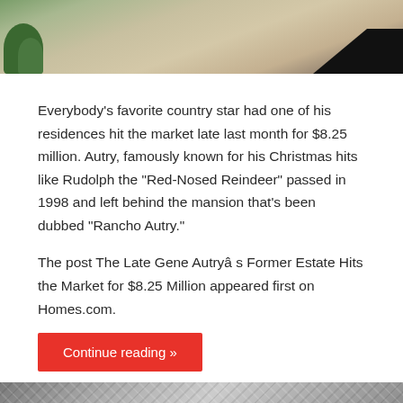[Figure (photo): Top portion of a real estate photo showing outdoor area with plants and pavement]
Everybody's favorite country star had one of his residences hit the market late last month for $8.25 million. Autry, famously known for his Christmas hits like Rudolph the “Red-Nosed Reindeer” passed in 1998 and left behind the mansion that’s been dubbed “Rancho Autry.”
The post The Late Gene Autryâs Former Estate Hits the Market for $8.25 Million appeared first on Homes.com.
Continue reading »
[Figure (photo): Bottom portion showing another real estate photo with metallic or structural elements]